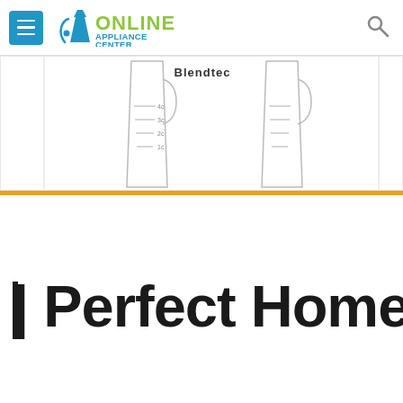Online Appliance Center
[Figure (photo): Blendtec blender jar/container with measurement markings, partially cropped at top]
| Perfect Home Ki